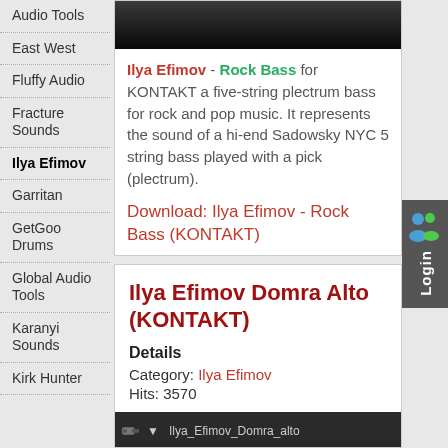Audio Tools
East West
Fluffy Audio
Fracture Sounds
Ilya Efimov
Garritan
GetGood Drums
Global Audio Tools
Karanyi Sounds
Kirk Hunter
[Figure (screenshot): Dark screenshot of Rock Bass plugin interface]
Ilya Efimov - Rock Bass for KONTAKT a five-string plectrum bass for rock and pop music. It represents the sound of a hi-end Sadowsky NYC 5 string bass played with a pick (plectrum).
Download: Ilya Efimov - Rock Bass (KONTAKT)
Ilya Efimov Domra Alto (KONTAKT)
Details
Category: Ilya Efimov
Hits: 3570
[Figure (screenshot): Dark KONTAKT plugin bar showing Ilya_Efimov_Domra_alto filename]